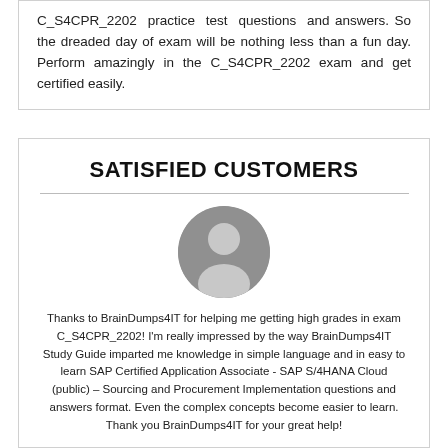C_S4CPR_2202 practice test questions and answers. So the dreaded day of exam will be nothing less than a fun day. Perform amazingly in the C_S4CPR_2202 exam and get certified easily.
SATISFIED CUSTOMERS
[Figure (illustration): Generic grey silhouette avatar of a person in a circle]
Thanks to BrainDumps4IT for helping me getting high grades in exam C_S4CPR_2202! I'm really impressed by the way BrainDumps4IT Study Guide imparted me knowledge in simple language and in easy to learn SAP Certified Application Associate - SAP S/4HANA Cloud (public) – Sourcing and Procurement Implementation questions and answers format. Even the complex concepts become easier to learn. Thank you BrainDumps4IT for your great help!